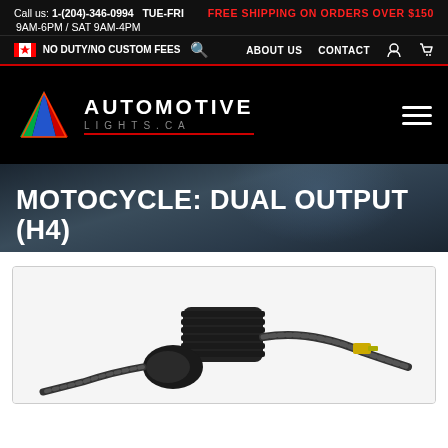Call us: 1-(204)-346-0994   TUE-FRI   FREE SHIPPING ON ORDERS OVER $150
9AM-6PM / SAT 9AM-4PM
NO DUTY/NO CUSTOM FEES   ABOUT US   CONTACT
[Figure (logo): Automotive Lights.ca logo with triangle icon and hamburger menu]
MOTOCYCLE: DUAL OUTPUT (H4)
[Figure (photo): Product photo of a motorcycle dual output H4 LED headlight kit with black housing and yellow connector]